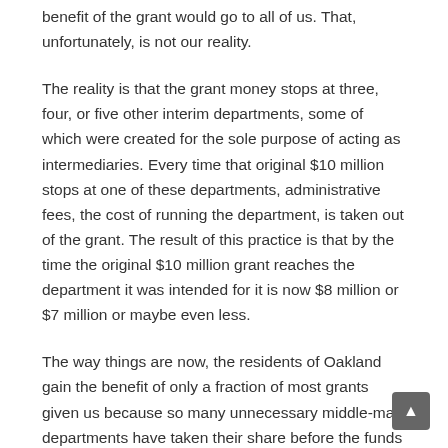benefit of the grant would go to all of us. That, unfortunately, is not our reality.
The reality is that the grant money stops at three, four, or five other interim departments, some of which were created for the sole purpose of acting as intermediaries. Every time that original $10 million stops at one of these departments, administrative fees, the cost of running the department, is taken out of the grant. The result of this practice is that by the time the original $10 million grant reaches the department it was intended for it is now $8 million or $7 million or maybe even less.
The way things are now, the residents of Oakland gain the benefit of only a fraction of most grants given us because so many unnecessary middle-man departments have taken their share before the funds arrive at their intended destination. As Mayor, I will eliminate any middle-man department under my